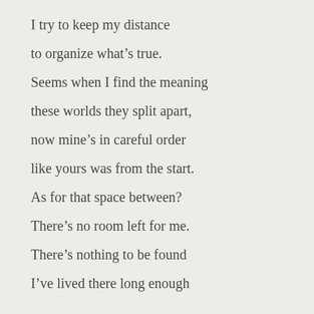I try to keep my distance

to organize what's true.

Seems when I find the meaning

these worlds they split apart,

now mine's in careful order

like yours was from the start.

As for that space between?

There's no room left for me.

There's nothing to be found

I've lived there long enough